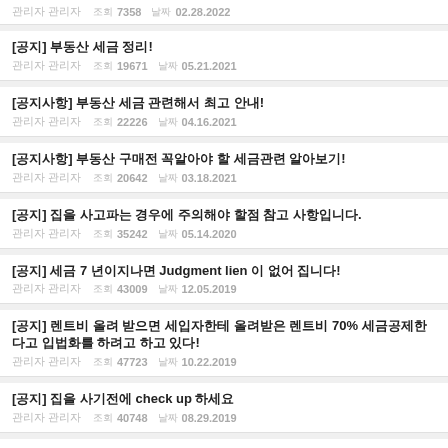조회 7358  날짜 02.28.2022
[공지] 부동산 세금 정리! 조회 19671 날짜 05.21.2021
[공지사항] 부동산 세금 관련해서 최고 안내! 조회 22226 날짜 04.16.2021
[공지사항] 부동산 구매전 꼭알아야 할 세금관련 알아보기! 조회 20642 날짜 03.18.2021
[공지] 집을 사고파는 경우에 주의해야 할점 참고 사항입니다. 조회 35242 날짜 05.14.2020
[공지] 세금 7 년이지나면 Judgment lien 이 없어 집니다! 조회 43009 날짜 12.05.2019
[공지] 렌트비 올려 받으면 세입자한테 올려받은 렌트비 70% 세금공제한다고 입법화를 하려고 하고 있다! 조회 47723 날짜 10.22.2019
[공지] 집을 사기전에 check up 하세요 조회 40748 날짜 08.29.2019
[공지] 제목없음,, 맥주집 근처에 헬스장, 스파시설 있는곳은, 또 음식점이,, 조회 19 날짜 09.01.2022